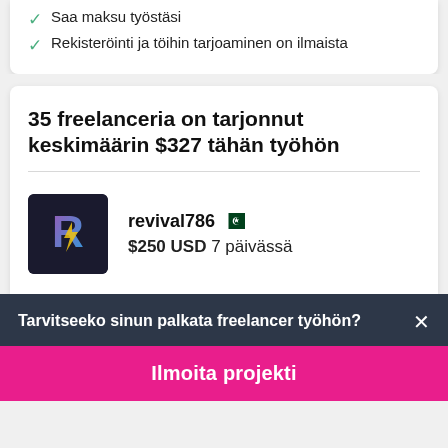Saa maksu työstäsi
Rekisteröinti ja töihin tarjoaminen on ilmaista
35 freelanceria on tarjonnut keskimäärin $327 tähän työhön
revival786  $250 USD 7 päivässä
Tarvitseeko sinun palkata freelancer työhön?
Ilmoita projekti